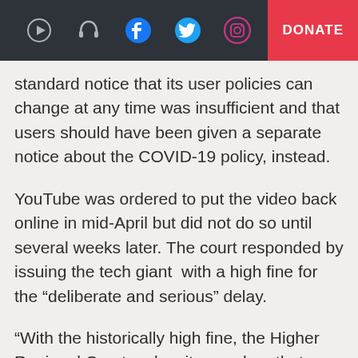DONATE
standard notice that its user policies can change at any time was insufficient and that users should have been given a separate notice about the COVID-19 policy, instead.
YouTube was ordered to put the video back online in mid-April but did not do so until several weeks later. The court responded by issuing the tech giant  with a high fine for the “deliberate and serious” delay.
“With the historically high fine, the Higher Regional Court makes it very clear that court decisions must be observed without restriction, regardless of whether YouTube assumes a